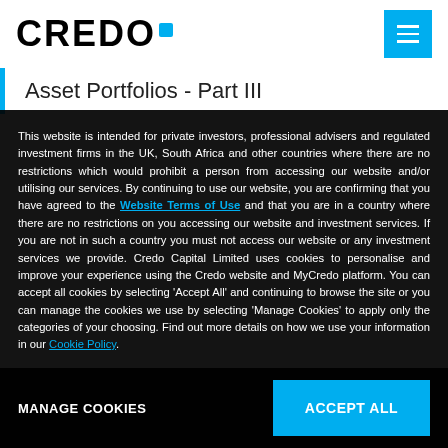[Figure (logo): CREDO logo with blue square dot and hamburger menu button in cyan/blue]
Asset Portfolios - Part III
This website is intended for private investors, professional advisers and regulated investment firms in the UK, South Africa and other countries where there are no restrictions which would prohibit a person from accessing our website and/or utilising our services. By continuing to use our website, you are confirming that you have agreed to the Website Terms of Use and that you are in a country where there are no restrictions on you accessing our website and investment services. If you are not in such a country you must not access our website or any investment services we provide. Credo Capital Limited uses cookies to personalise and improve your experience using the Credo website and MyCredo platform. You can accept all cookies by selecting 'Accept All' and continuing to browse the site or you can manage the cookies we use by selecting 'Manage Cookies' to apply only the categories of your choosing. Find out more details on how we use your information in our Cookie Policy.
MANAGE COOKIES
ACCEPT ALL